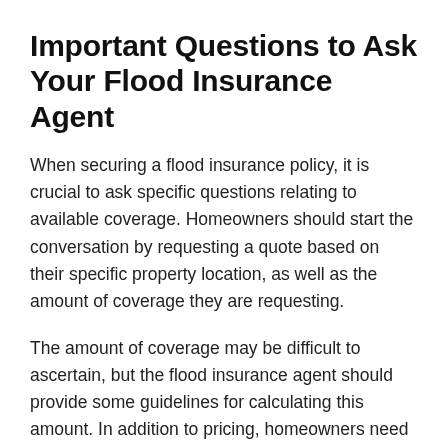Important Questions to Ask Your Flood Insurance Agent
When securing a flood insurance policy, it is crucial to ask specific questions relating to available coverage. Homeowners should start the conversation by requesting a quote based on their specific property location, as well as the amount of coverage they are requesting.
The amount of coverage may be difficult to ascertain, but the flood insurance agent should provide some guidelines for calculating this amount. In addition to pricing, homeowners need to be fully aware of any exclusions that may be part of the policy, the amount of the deductible, and any